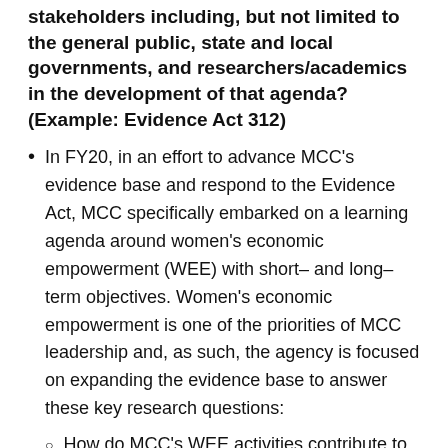stakeholders including, but not limited to the general public, state and local governments, and researchers/academics in the development of that agenda? (Example: Evidence Act 312)
In FY20, in an effort to advance MCC's evidence base and respond to the Evidence Act, MCC specifically embarked on a learning agenda around women's economic empowerment (WEE) with short– and long–term objectives. Women's economic empowerment is one of the priorities of MCC leadership and, as such, the agency is focused on expanding the evidence base to answer these key research questions:
How do MCC's WEE activities contribute to MCC's overarching goal of reducing poverty through economic growth?
How does MCC's WEE work contribute to increased income and assets for households beyond what